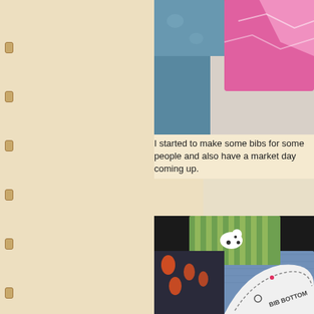[Figure (photo): Photo of pink fabric/quilting materials on a bed or table]
I started to make some bibs for some people and also have a market day coming up.
[Figure (photo): Photo of colorful patterned fabrics (green striped, dog print, dark print) on a cutting mat with a bib pattern piece labeled BIB BOTTOM]